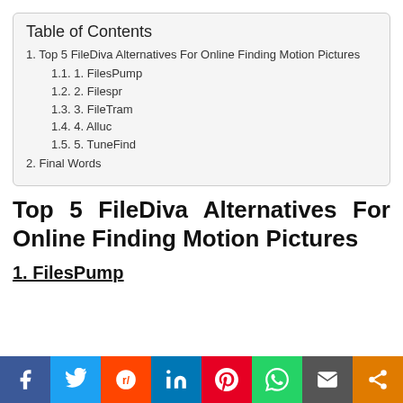Table of Contents
1. Top 5 FileDiva Alternatives For Online Finding Motion Pictures
1.1. 1. FilesPump
1.2. 2. Filespr
1.3. 3. FileTram
1.4. 4. Alluc
1.5. 5. TuneFind
2. Final Words
Top 5 FileDiva Alternatives For Online Finding Motion Pictures
1. FilesPump